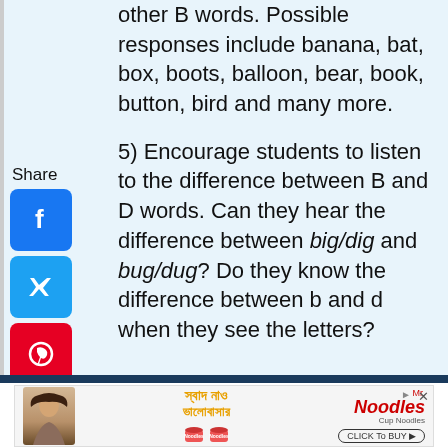other B words. Possible responses include banana, bat, box, boots, balloon, bear, book, button, bird and many more.
5) Encourage students to listen to the difference between B and D words. Can they hear the difference between big/dig and bug/dug? Do they know the difference between b and d when they see the letters?
[Figure (infographic): Social share panel with label 'Share' and icons for Facebook, Twitter, Pinterest, Tumblr, Reddit, WhatsApp]
[Figure (photo): Mr. Noodles Cup Noodles advertisement featuring a smiling woman, Bengali text meaning 'taste and love', two cup noodle products, and a 'CLICK To BUY' button]